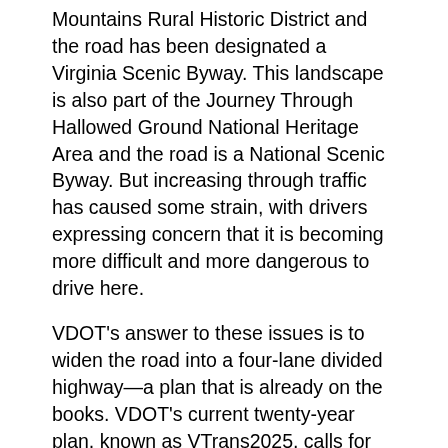Mountains Rural Historic District and the road has been designated a Virginia Scenic Byway. This landscape is also part of the Journey Through Hallowed Ground National Heritage Area and the road is a National Scenic Byway. But increasing through traffic has caused some strain, with drivers expressing concern that it is becoming more difficult and more dangerous to drive here.
VDOT's answer to these issues is to widen the road into a four-lane divided highway—a plan that is already on the books. VDOT's current twenty-year plan, known as VTrans2025, calls for four-laning Rte. 231 from Shadwell to Cismont and Rte. 22 from Cismont to the Louisa County line. The plan also calls for changes to the northern portion of Rte. 231, from Cismont to the Louisa County line, including expansion